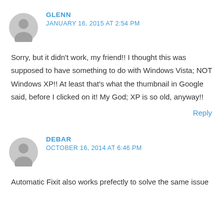GLENN
JANUARY 16, 2015 AT 2:54 PM
Sorry, but it didn't work, my friend!! I thought this was supposed to have something to do with Windows Vista; NOT Windows XP!! At least that's what the thumbnail in Google said, before I clicked on it! My God; XP is so old, anyway!!
Reply
DEBAR
OCTOBER 16, 2014 AT 6:46 PM
Automatic Fixit also works prefectly to solve the same issue